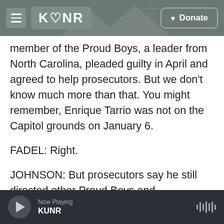KUNR | Donate
member of the Proud Boys, a leader from North Carolina, pleaded guilty in April and agreed to help prosecutors. But we don't know much more than that. You might remember, Enrique Tarrio was not on the Capitol grounds on January 6.
FADEL: Right.
JOHNSON: But prosecutors say he still directed other Proud Boys and communicated with them all day on social media and other channels. This indictment quotes Tarrio as posting, quote, "proud of my boys and my country" after the violence
Now Playing KUNR